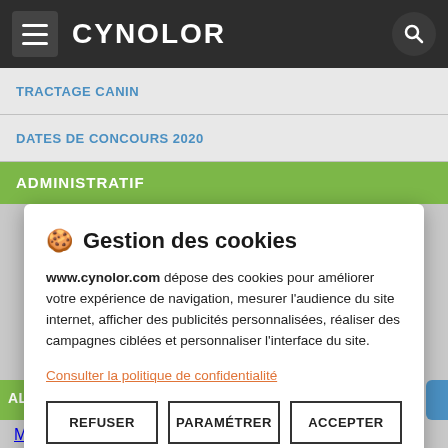CYNOLOR
TRACTAGE CANIN
DATES DE CONCOURS 2020
ADMINISTRATIF
🍪 Gestion des cookies
www.cynolor.com dépose des cookies pour améliorer votre expérience de navigation, mesurer l'audience du site internet, afficher des publicités personnalisées, réaliser des campagnes ciblées et personnaliser l'interface du site.
Consulter la politique de confidentialité
REFUSER | PARAMÉTRER | ACCEPTER
Médiation animal